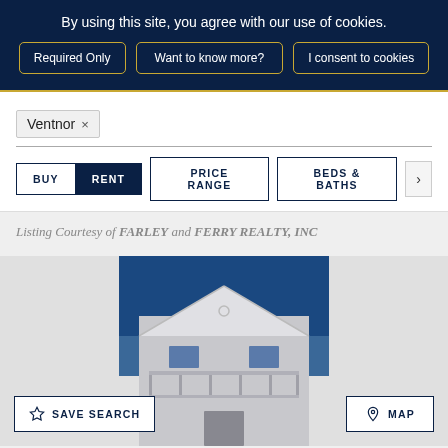By using this site, you agree with our use of cookies.
Required Only | Want to know more? | I consent to cookies
Ventnor ×
BUY  RENT  PRICE RANGE  BEDS & BATHS  >
Listing Courtesy of FARLEY and FERRY REALTY, INC
[Figure (photo): Exterior photo of a multi-story residential building/house against a blue sky]
SAVE SEARCH
MAP